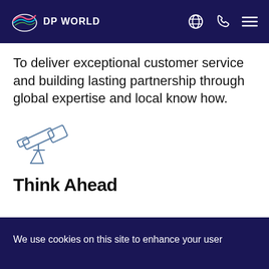DP WORLD
To deliver exceptional customer service and building lasting partnership through global expertise and local know how.
[Figure (illustration): Telescope icon — line drawing of a telescope on a tripod, pointing left-upward]
Think Ahead
We use cookies on this site to enhance your user experience. By continuing to visit this site you agree to our use of cookies. Learn More
Got It